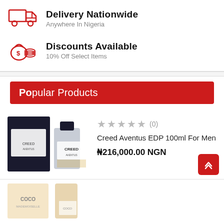[Figure (infographic): Red truck/delivery icon]
Delivery Nationwide
Anywhere In Nigeria
[Figure (infographic): Red money bag with dollar sign icon]
Discounts Available
10% Off Select Items
Popular Products
[Figure (photo): Creed Aventus EDP 100ml For Men perfume bottle with box]
★★★★★ (0)
Creed Aventus EDP 100ml For Men
₦216,000.00 NGN
[Figure (photo): Coco perfume bottle partially visible at bottom]